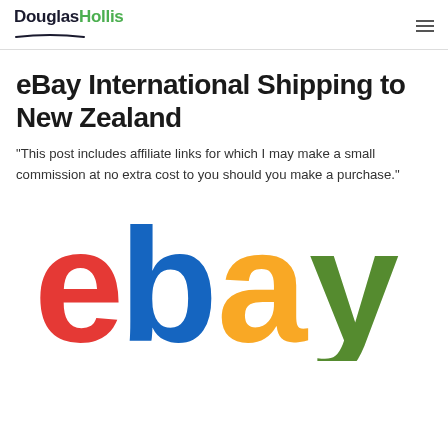DouglasHollis
eBay International Shipping to New Zealand
"This post includes affiliate links for which I may make a small commission at no extra cost to you should you make a purchase."
[Figure (logo): eBay logo with colorful letters: red 'e', blue 'b', yellow 'a', green 'y']